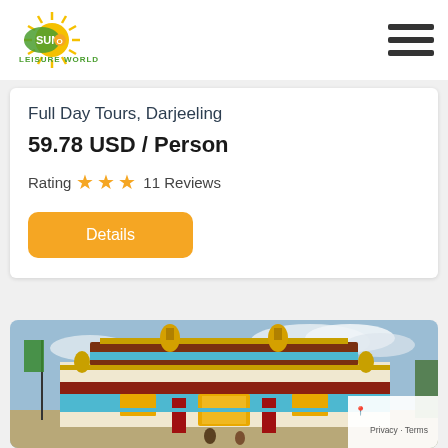[Figure (logo): Sun Leisure World logo — yellow sunburst with green text]
Full Day Tours, Darjeeling
59.78 USD / Person
Rating ★★★ 11 Reviews
Details
[Figure (photo): Colorful Tibetan Buddhist monastery building with yellow and blue decorations, golden ornaments on roof, red pillars, and a green flag on the left side. Darjeeling, India.]
Privacy · Terms